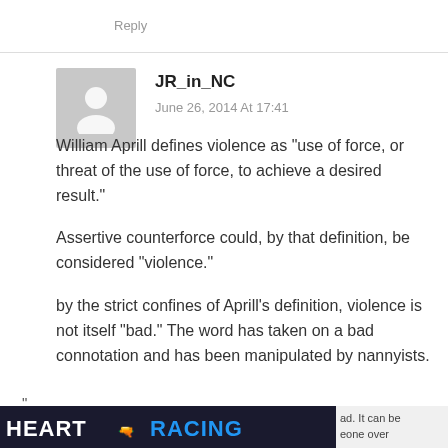Reply
JR_in_NC
June 26, 2014 At 17:41
William Aprill defines violence as “use of force, or threat of the use of force, to achieve a desired result.”
Assertive counterforce could, by that definition, be considered “violence.”
by the strict confines of Aprill’s definition, violence is not itself “bad.” The word has taken on a bad connotation and has been manipulated by nannyists.
“
[Figure (other): Partial advertisement banner showing HEART RACING text with a gun image in the middle. Right side shows partial text: 'ad. It can be' and 'eone over']